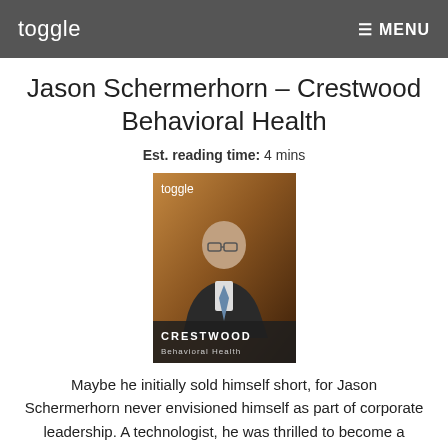toggle   ≡ MENU
Jason Schermerhorn – Crestwood Behavioral Health
Est. reading time: 4 mins
[Figure (photo): Magazine cover showing Jason Schermerhorn in a suit and glasses, with 'toggle' logo at top and 'CRESTWOOD Behavioral Health' text at bottom, brown/amber background]
Maybe he initially sold himself short, for Jason Schermerhorn never envisioned himself as part of corporate leadership. A technologist, he was thrilled to become a network engineer in December 2013 at one of California's major providers of mental and behavioral